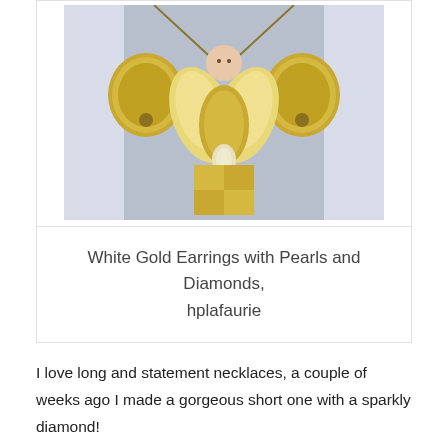[Figure (photo): A large gold necklace or jewelry piece with bell-shaped gold ornaments on either side, angel/wing-shaped decorative elements in the center, worn by a person against a light background.]
White Gold Earrings with Pearls and Diamonds, hplafaurie
I love long and statement necklaces, a couple of weeks ago I made a gorgeous short one with a sparkly diamond!
It's difficult to wear necklaces in winter, the sweaters and the coat are bulky, this little necklace make me